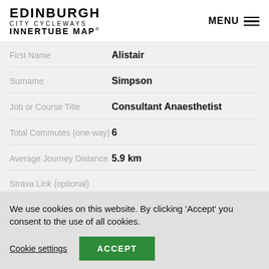EDINBURGH CITY CYCLEWAYS INNERTUBE MAP® | MENU
| Field | Value |
| --- | --- |
| First Name | Alistair |
| Surname | Simpson |
| Job or Course Title | Consultant Anaesthetist |
| Total Commutes (one-way) | 6 |
| Average Journey Distance | 5.9 km |
| Strava Link (optional) |  |
We use cookies on this website. By clicking 'Accept' you consent to the use of all cookies.
Cookie settings | ACCEPT